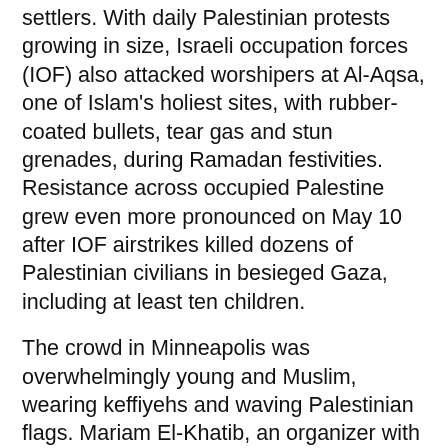settlers. With daily Palestinian protests growing in size, Israeli occupation forces (IOF) also attacked worshipers at Al-Aqsa, one of Islam's holiest sites, with rubber-coated bullets, tear gas and stun grenades, during Ramadan festivities. Resistance across occupied Palestine grew even more pronounced on May 10 after IOF airstrikes killed dozens of Palestinian civilians in besieged Gaza, including at least ten children.
The crowd in Minneapolis was overwhelmingly young and Muslim, wearing keffiyehs and waving Palestinian flags. Mariam El-Khatib, an organizer with AMP-MN, opened the rally, saying, “The Palestinian people have shown us incredible dignity, bravery and steadfastness in the face of one of the most repressive and terrorizing apartheid systems in the world. The least we can do is stand in solidarity with them, to tell them: from Minnesota to Palestine, our hearts are with you! We support you and we support your right to live. And we support your right to reparations and your right to be on your land, where